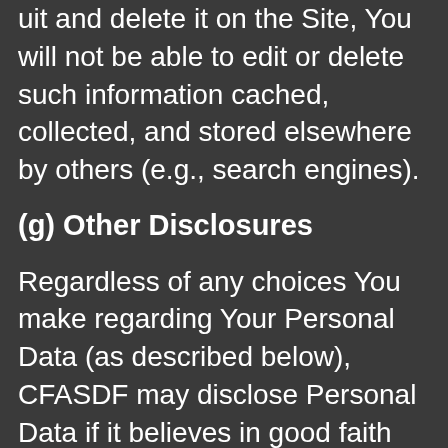uit and delete it on the Site, You will not be able to edit or delete such information cached, collected, and stored elsewhere by others (e.g., search engines).
(g) Other Disclosures
Regardless of any choices You make regarding Your Personal Data (as described below), CFASDF may disclose Personal Data if it believes in good faith that such disclosure is necessary (a) in connection with any legal investigation; (b) to comply with relevant laws or to respond to subpoenas or warrants served on CFASDF; (c) to protect or defend